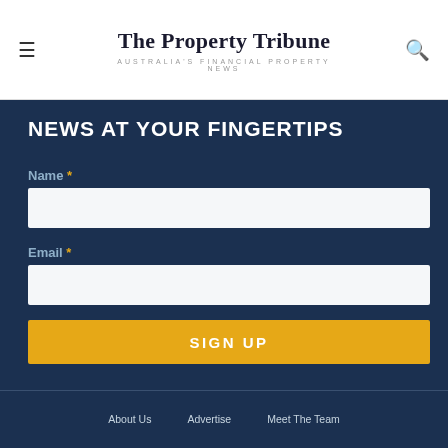The Property Tribune — AUSTRALIA'S FINANCIAL PROPERTY NEWS
NEWS AT YOUR FINGERTIPS
Name *
Email *
SIGN UP
About Us   Advertise   Meet The Team